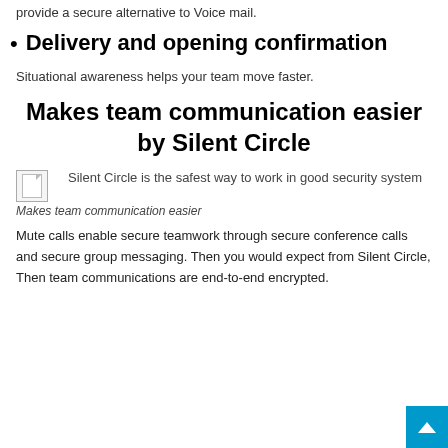provide a secure alternative to Voice mail.
Delivery and opening confirmation
Situational awareness helps your team move faster.
Makes team communication easier by Silent Circle
[Figure (illustration): Broken image placeholder with alt text: Silent Circle is the safest way to work in good security system]
Makes team communication easier
Mute calls enable secure teamwork through secure conference calls and secure group messaging. Then you would expect from Silent Circle, Then team communications are end-to-end encrypted.